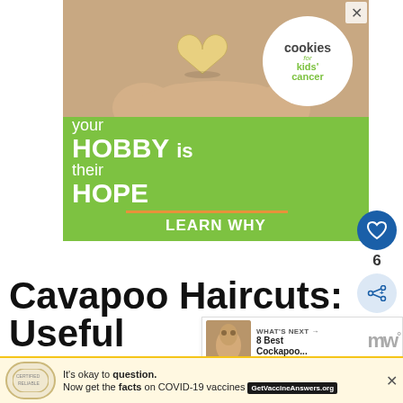[Figure (illustration): Advertisement banner: green background with hands holding a heart-shaped cookie above, white circle with 'cookies for kids cancer' logo, large white text reading 'your HOBBY is their HOPE' with orange divider line and 'LEARN WHY' below. Close X button in top-right corner.]
[Figure (infographic): Heart/like button (blue circle with heart icon) showing count of 6, and share button (light blue circle with share icon)]
[Figure (photo): What's Next thumbnail: small dog photo with text 'WHAT'S NEXT → 8 Best Cockapoo...']
Cavapoo Haircuts: Useful
[Figure (illustration): Bottom advertisement: light yellow background with stamp/badge icon, text 'It's okay to question. Now get the facts on COVID-19 vaccines GetVaccineAnswers.org', close X button]
[Figure (logo): Merck veterinary logo: stylized dark letters 'mw' with degree symbol]